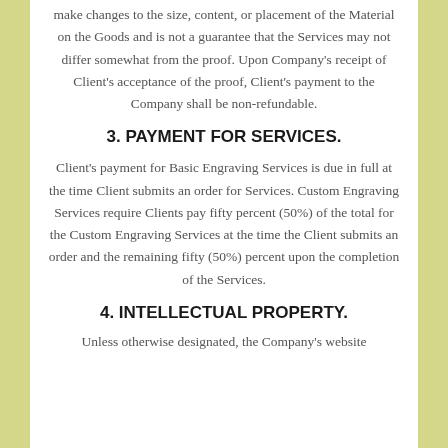make changes to the size, content, or placement of the Material on the Goods and is not a guarantee that the Services may not differ somewhat from the proof. Upon Company's receipt of Client's acceptance of the proof, Client's payment to the Company shall be non-refundable.
3. PAYMENT FOR SERVICES.
Client's payment for Basic Engraving Services is due in full at the time Client submits an order for Services. Custom Engraving Services require Clients pay fifty percent (50%) of the total for the Custom Engraving Services at the time the Client submits an order and the remaining fifty (50%) percent upon the completion of the Services.
4. INTELLECTUAL PROPERTY.
Unless otherwise designated, the Company's website